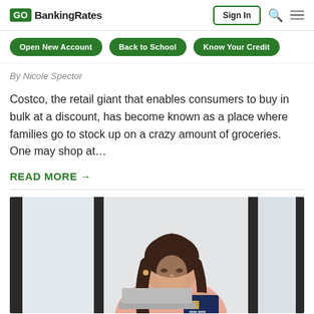GOBankingRates
Open New Account
Back to School
Know Your Credit
By Nicole Spector
Costco, the retail giant that enables consumers to buy in bulk at a discount, has become known as a place where families go to stock up on a crazy amount of groceries. One may shop at…
READ MORE →
[Figure (photo): Woman with long dark hair looking down at a credit card, seated at a table with a laptop, wearing a pink top, in a cafe-like setting]